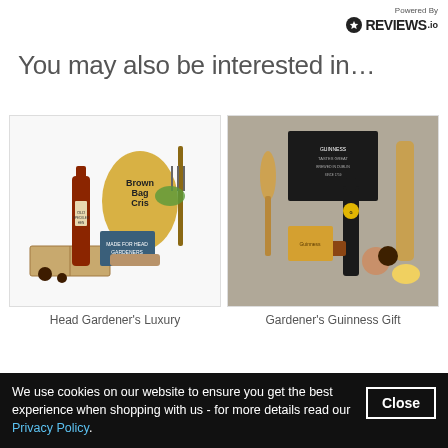[Figure (logo): REVIEWS.io logo with star icon and 'Powered By' text]
You may also be interested in…
[Figure (photo): Head Gardener's Luxury gift hamper with beer bottle, crisps, gardening tools, soap and other items on white background]
[Figure (photo): Gardener's Guinness Gift hamper with Guinness bottle, wooden board, various food items and accessories on grey background]
Head Gardener's Luxury
Gardener's Guinness Gift
We use cookies on our website to ensure you get the best experience when shopping with us - for more details read our Privacy Policy.